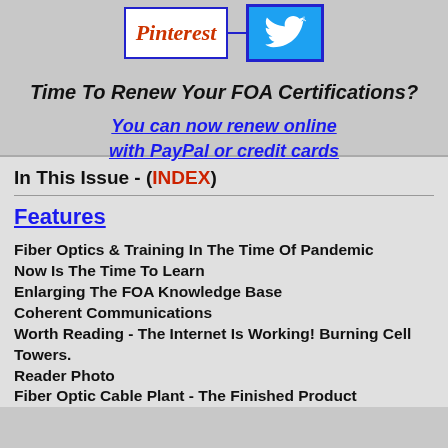[Figure (logo): Pinterest and Twitter social media icons connected by a line]
Time To Renew Your FOA Certifications?
You can now renew online with PayPal or credit cards
In This Issue - (INDEX)
Features
Fiber Optics & Training In The Time Of Pandemic
Now Is The Time To Learn
Enlarging The FOA Knowledge Base
Coherent Communications
Worth Reading - The Internet Is Working! Burning Cell Towers.
Reader Photo
Fiber Optic Cable Plant - The Finished Product